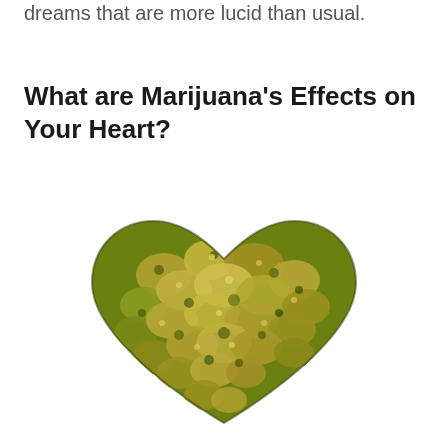dreams that are more lucid than usual.
What are Marijuana's Effects on Your Heart?
[Figure (photo): A heart shape formed from cannabis/marijuana flower buds, arranged to depict a heart on a white background.]